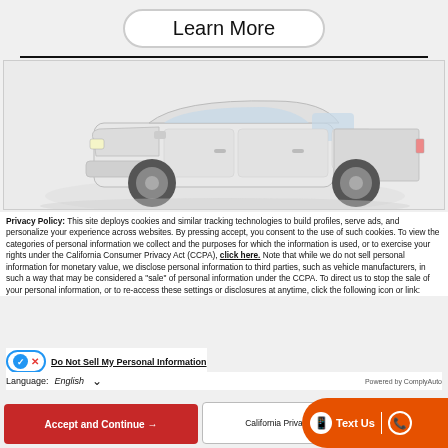Learn More
[Figure (photo): White pickup truck on a white/light grey background inside a bordered box]
Privacy Policy: This site deploys cookies and similar tracking technologies to build profiles, serve ads, and personalize your experience across websites. By pressing accept, you consent to the use of such cookies. To view the categories of personal information we collect and the purposes for which the information is used, or to exercise your rights under the California Consumer Privacy Act (CCPA), click here. Note that while we do not sell personal information for monetary value, we disclose personal information to third parties, such as vehicle manufacturers, in such a way that may be considered a "sale" of personal information under the CCPA. To direct us to stop the sale of your personal information, or to re-access these settings or disclosures at anytime, click the following icon or link:
Do Not Sell My Personal Information
Language: English
Powered by ComplyAuto
Accept and Continue →
California Privacy Di...
Text Us